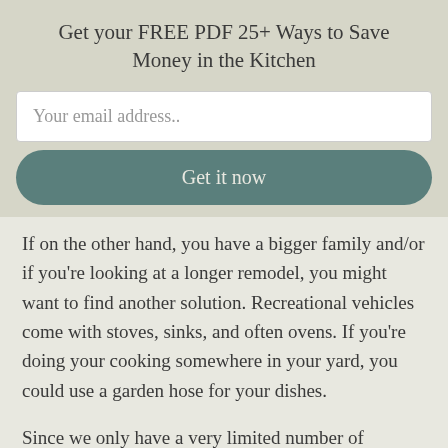Get your FREE PDF 25+ Ways to Save Money in the Kitchen
Your email address..
Get it now
If on the other hand, you have a bigger family and/or if you’re looking at a longer remodel, you might want to find another solution. Recreational vehicles come with stoves, sinks, and often ovens. If you’re doing your cooking somewhere in your yard, you could use a garden hose for your dishes.
Since we only have a very limited number of